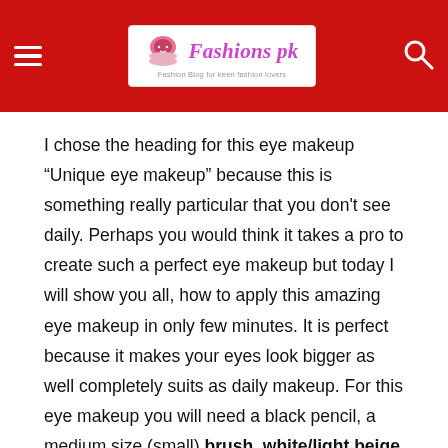Fashions pk — Fashion Blog for keen fashion lovers
I chose the heading for this eye makeup “Unique eye makeup” because this is something really particular that you don't see daily. Perhaps you would think it takes a pro to create such a perfect eye makeup but today I will show you all, how to apply this amazing eye makeup in only few minutes. It is perfect because it makes your eyes look bigger as well completely suits as daily makeup. For this eye makeup you will need a black pencil, a medium size (small) brush, white/light beige eye shadow and black eyeliner. Start by applying foundation all over your eyelid and then based on the picture number one, draw a thick line such as the tutorial indicates.